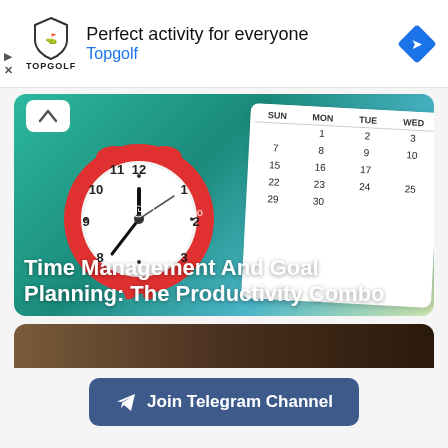[Figure (screenshot): Ad banner for Topgolf: logo shield on left, text 'Perfect activity for everyone' and 'Topgolf' in blue, navigation arrow icon on right, play and close icons on far left]
[Figure (photo): Article card thumbnail showing a red alarm clock on teal background with a calendar overlay showing dates. Timestamp '2 days ago'. Title overlay reads 'Time Management And Goal Planning: The Productivity Combo']
[Figure (photo): Partial view of a second article card with dark brown background showing hair]
Join Telegram Channel